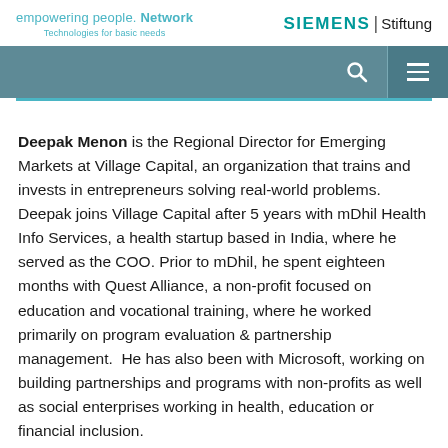empowering people. Network | Technologies for basic needs | SIEMENS Stiftung
Deepak Menon is the Regional Director for Emerging Markets at Village Capital, an organization that trains and invests in entrepreneurs solving real-world problems. Deepak joins Village Capital after 5 years with mDhil Health Info Services, a health startup based in India, where he served as the COO. Prior to mDhil, he spent eighteen months with Quest Alliance, a non-profit focused on education and vocational training, where he worked primarily on program evaluation & partnership management.  He has also been with Microsoft, working on building partnerships and programs with non-profits as well as social enterprises working in health, education or financial inclusion.